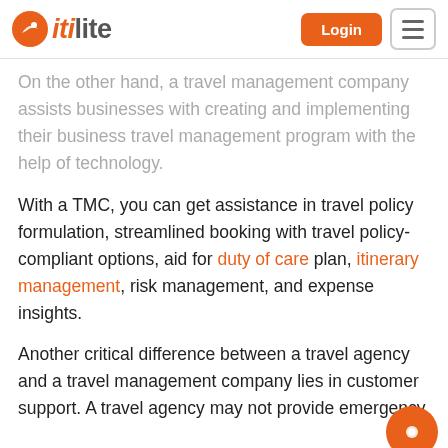itilite [logo] | Login | Menu
On the other hand, a travel management company assists businesses with creating and implementing their business travel management program with the help of technology.
With a TMC, you can get assistance in travel policy formulation, streamlined booking with travel policy-compliant options, aid for duty of care plan, itinerary management, risk management, and expense insights.
Another critical difference between a travel agency and a travel management company lies in customer support. A travel agency may not provide emergency